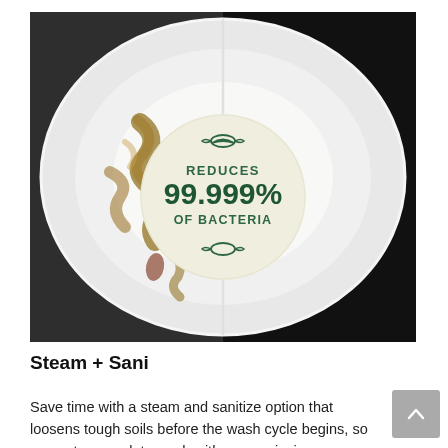[Figure (photo): Split image of a white dinner plate: left half dirty with food residue (browned sauce/food stains), right half clean. In the center of the plate is a circular cream-colored badge with dark green text reading 'REDUCES 99.999% OF BACTERIA', with small fish/leaf decorative icons above and below the text. The background is dark/black.]
Steam + Sani
Save time with a steam and sanitize option that loosens tough soils before the wash cycle begins, so you get a complete wash with no pre-rinsing or